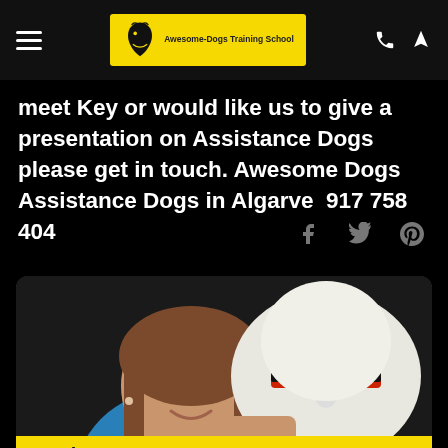[Figure (screenshot): Navigation bar with hamburger menu icon, Awesome Dogs Training School yellow logo in center, phone and location icons on right]
meet Key or would like us to give a presentation on Assistance Dogs please get in touch. Awesome Dogs Assistance Dogs in Algarve  917 758 404
[Figure (other): Social sharing icons: Facebook, Twitter, Pinterest]
[Figure (photo): A smiling woman in a blue sweater with a dog wearing a red collar nuzzling her face against a dark background]
Assistance Dogs